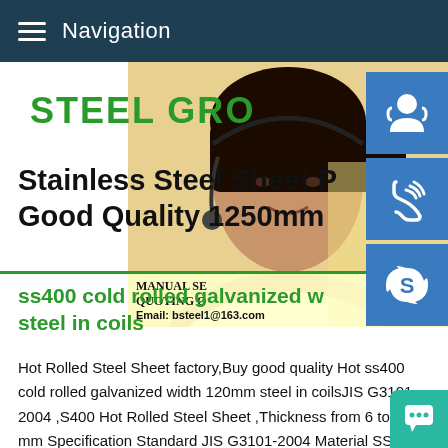Navigation
STEEL GR[ROUP]
Stainless Steel Sheet [Plate] Good Quality 1250mm
[Figure (photo): Customer service representative woman with headset, with contact info overlay showing MANUAL SE[RVICE], QUOTING O[NLINE], Email: bsteel1@163.com, and blue icon buttons for chat, phone, and Skype]
ss400 cold rolled galvanized w[idth 120mm] steel in coils
Hot Rolled Steel Sheet factory,Buy good quality Hot ss400 cold rolled galvanized width 120mm steel in coilsJIS G3101-2004 ,S400 Hot Rolled Steel Sheet ,Thickness from 6 to 120 mm Specification Standard JIS G3101-2004 Material SS400 Size Thickness:6.0[ to] 120mm